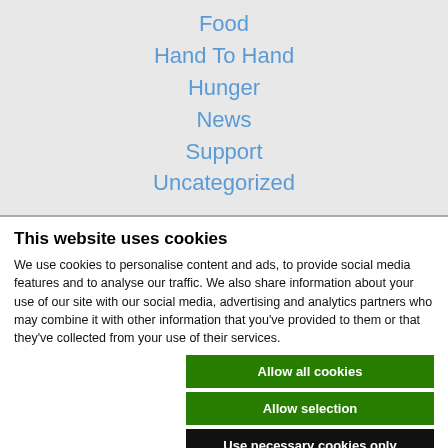Food
Hand To Hand
Hunger
News
Support
Uncategorized
This website uses cookies
We use cookies to personalise content and ads, to provide social media features and to analyse our traffic. We also share information about your use of our site with our social media, advertising and analytics partners who may combine it with other information that you've provided to them or that they've collected from your use of their services.
Allow all cookies
Allow selection
Use necessary cookies only
Necessary  Preferences  Statistics  Marketing  Show details